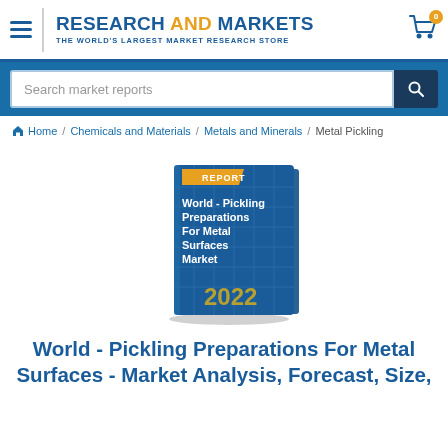RESEARCH AND MARKETS — THE WORLD'S LARGEST MARKET RESEARCH STORE
Search market reports
Home / Chemicals and Materials / Metals and Minerals / Metal Pickling
[Figure (illustration): A 3D blue book cover titled 'World - Pickling Preparations For Metal Surfaces Market' with a yellow 'REPORT' label and '2022' printed at the bottom]
World - Pickling Preparations For Metal Surfaces - Market Analysis, Forecast, Size,